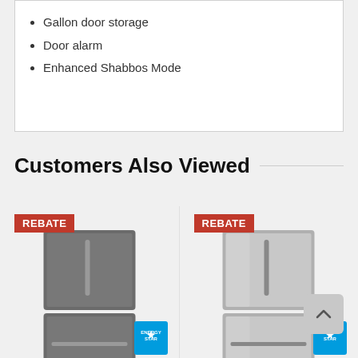Gallon door storage
Door alarm
Enhanced Shabbos Mode
Customers Also Viewed
[Figure (photo): Refrigerator product image with REBATE badge and Energy Star logo, slate/dark finish]
[Figure (photo): Refrigerator product image with REBATE badge and Energy Star logo, stainless steel finish]